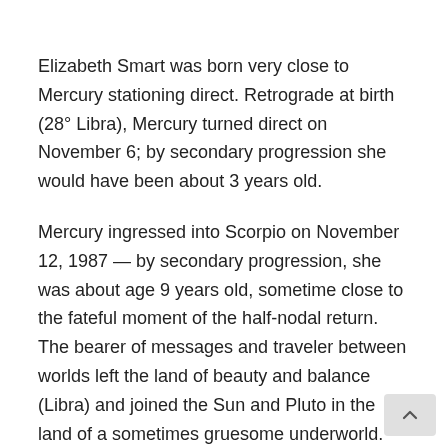Elizabeth Smart was born very close to Mercury stationing direct. Retrograde at birth (28° Libra), Mercury turned direct on November 6; by secondary progression she would have been about 3 years old.
Mercury ingressed into Scorpio on November 12, 1987 — by secondary progression, she was about age 9 years old, sometime close to the fateful moment of the half-nodal return. The bearer of messages and traveler between worlds left the land of beauty and balance (Libra) and joined the Sun and Pluto in the land of a sometimes gruesome underworld. Her inner resources were deepening.